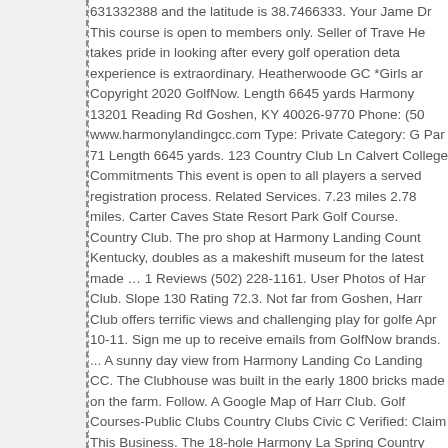631332388 and the latitude is 38.7466333. Your Jame Dr This course is open to members only. Seller of Trave He takes pride in looking after every golf operation deta experience is extraordinary. Heatherwoode GC *Girls ar Copyright 2020 GolfNow. Length 6645 yards Harmony 13201 Reading Rd Goshen, KY 40026-9770 Phone: (50 www.harmonylandingcc.com Type: Private Category: G Par 71 Length 6645 yards. 123 Country Club Ln Calvert College Commitments This event is open to all players a served registration process. Related Services. 7.23 miles 2.78 miles. Carter Caves State Resort Park Golf Course. Country Club. The pro shop at Harmony Landing Count Kentucky, doubles as a makeshift museum for the latest made … 1 Reviews (502) 228-1161. User Photos of Har Club. Slope 130 Rating 72.3. Not far from Goshen, Harr Club offers terrific views and challenging play for golfe Apr 10-11. Sign me up to receive emails from GolfNow brands. ... A sunny day view from Harmony Landing Co Landing CC. The Clubhouse was built in the early 1800 bricks made on the farm. Follow. A Google Map of Harr Club. Golf Courses-Public Clubs Country Clubs Civic C Verified: Claim This Business. The 18-hole Harmony La Spring Country Club Harmony Landing Campus facility yards of golf from the longest tees for a par of 71. Our P staff will go to great lengths to assure each time you visi is a relaxing and enjoyable experience. Powered by CHR designed this 18 hole course. Calvert City Golf & Coun